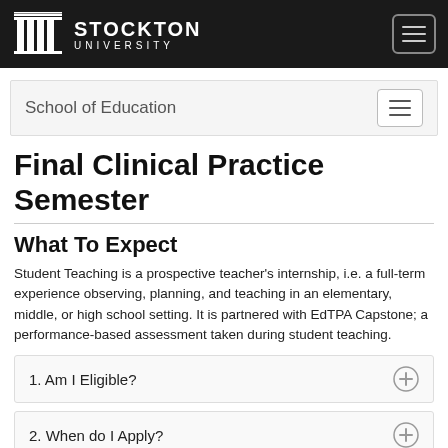STOCKTON UNIVERSITY
School of Education
Final Clinical Practice Semester
What To Expect
Student Teaching is a prospective teacher's internship, i.e. a full-term experience observing, planning, and teaching in an elementary, middle, or high school setting. It is partnered with EdTPA Capstone; a performance-based assessment taken during student teaching.
1. Am I Eligible?
2. When do I Apply?
3. How do I Apply?